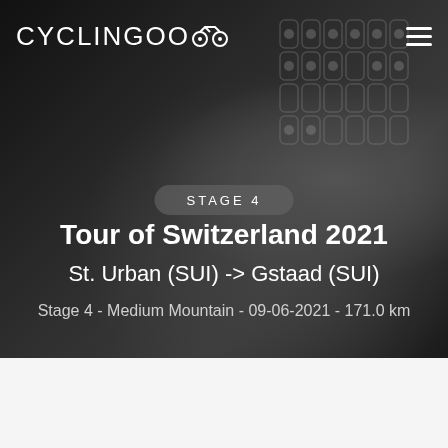CYCLINGOO
STAGE 4
Tour of Switzerland 2021
St. Urban (SUI) -> Gstaad (SUI)
Stage 4 - Medium Mountain - 09-06-2021 - 171.0 km
Ad
Cyclingoo is the cycling results and